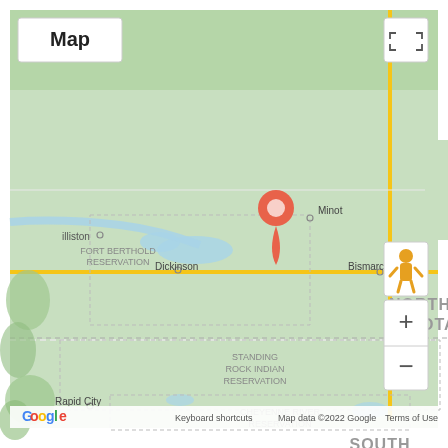[Figure (map): Google Map showing North Dakota and surrounding region, with a red location pin near Minot, ND. Visible labels include: la Prairie (top), Minot, Williston, Grand Forks, Fargo, Dickinson, Bismarck (cities); FORT BERTHOLD RESERVATION, STANDING ROCK INDIAN RESERVATION, LAKE TRAVERSE RESERVATION, CHEYENNE RIVER RESERVATION (reservations); NORTH DAKOTA, SOUTH DAKOTA (states); Rapid City. Map controls include fullscreen button, street view pegman, zoom in (+) and zoom out (-) buttons. Footer shows Google logo, Keyboard shortcuts, Map data ©2022 Google, Terms of Use.]